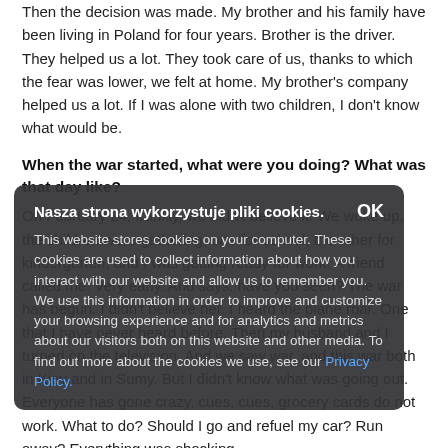Then the decision was made. My brother and his family have been living in Poland for four years. Brother is the driver. They helped us a lot. They took care of us, thanks to which the fear was lower, we felt at home. My brother's company helped us a lot. If I was alone with two children, I don't know what would be.
When the war started, what were you doing? What was that day like?
On February 24, frankly, we didn't believe it. We woke up, the children were gathering, one for school, the other for kindergarten, and I was getting ready for work. A friend called me. Very early. And says: have you seen? The war has begun. I didn't believe her. I heard the plane roar. One that I have never heard before. Then my husband and I turned on the television. And we saw war, and this war both in Kiev and in Sumy. But I didn't know what was going out. Everyone has gone crazy, cues, cues, grocery cards do not work. What to do? Should I go and refuel my car? Run away? Everything was shocking.
And what did you do?
We moved to our parents. They live in a single-family house,
Nasza strona wykorzystuje pliki cookies. This website stores cookies on your computer. These cookies are used to collect information about how you interact with our website and allow us to remember you. We use this information in order to improve and customize your browsing experience and for analytics and metrics about our visitors both on this website and other media. To find out more about the cookies we use, see our Privacy Policy.